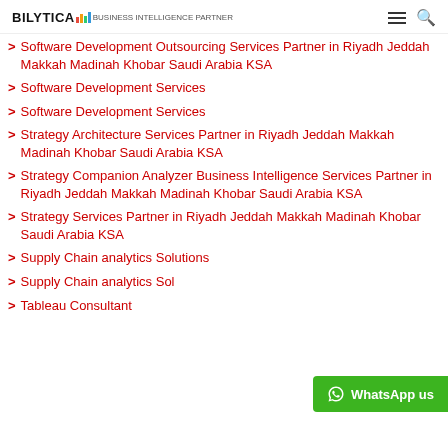BILYTICA [logo]
Software Development Outsourcing Services Partner in Riyadh Jeddah Makkah Madinah Khobar Saudi Arabia KSA
Software Development Services
Software Development Services
Strategy Architecture Services Partner in Riyadh Jeddah Makkah Madinah Khobar Saudi Arabia KSA
Strategy Companion Analyzer Business Intelligence Services Partner in Riyadh Jeddah Makkah Madinah Khobar Saudi Arabia KSA
Strategy Services Partner in Riyadh Jeddah Makkah Madinah Khobar Saudi Arabia KSA
Supply Chain analytics Solutions
Supply Chain analytics Sol... (partially obscured)
Tableau Consultant